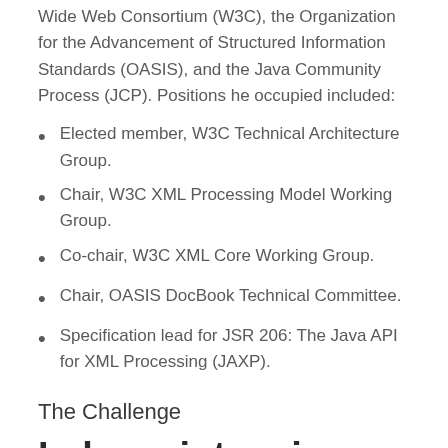Wide Web Consortium (W3C), the Organization for the Advancement of Structured Information Standards (OASIS), and the Java Community Process (JCP). Positions he occupied included:
Elected member, W3C Technical Architecture Group.
Chair, W3C XML Processing Model Working Group.
Co-chair, W3C XML Core Working Group.
Chair, OASIS DocBook Technical Committee.
Specification lead for JSR 206: The Java API for XML Processing (JAXP).
The Challenge
Labour-intensive